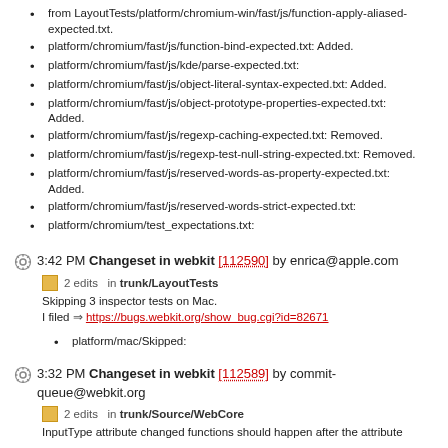from LayoutTests/platform/chromium-win/fast/js/function-apply-aliased-expected.txt.
platform/chromium/fast/js/function-bind-expected.txt: Added.
platform/chromium/fast/js/kde/parse-expected.txt:
platform/chromium/fast/js/object-literal-syntax-expected.txt: Added.
platform/chromium/fast/js/object-prototype-properties-expected.txt: Added.
platform/chromium/fast/js/regexp-caching-expected.txt: Removed.
platform/chromium/fast/js/regexp-test-null-string-expected.txt: Removed.
platform/chromium/fast/js/reserved-words-as-property-expected.txt: Added.
platform/chromium/fast/js/reserved-words-strict-expected.txt:
platform/chromium/test_expectations.txt:
3:42 PM Changeset in webkit [112590] by enrica@apple.com
2 edits in trunk/LayoutTests
Skipping 3 inspector tests on Mac.
I filed ⇒ https://bugs.webkit.org/show_bug.cgi?id=82671
platform/mac/Skipped:
3:32 PM Changeset in webkit [112589] by commit-queue@webkit.org
2 edits in trunk/Source/WebCore
InputType attribute changed functions should happen after the attribute